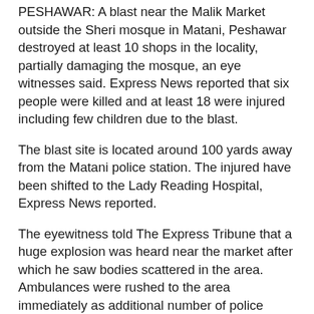PESHAWAR: A blast near the Malik Market outside the Sheri mosque in Matani, Peshawar destroyed at least 10 shops in the locality, partially damaging the mosque, an eye witnesses said. Express News reported that six people were killed and at least 18 were injured including few children due to the blast.
The blast site is located around 100 yards away from the Matani police station. The injured have been shifted to the Lady Reading Hospital, Express News reported.
The eyewitness told The Express Tribune that a huge explosion was heard near the market after which he saw bodies scattered in the area. Ambulances were rushed to the area immediately as additional number of police personnel made way to the spot.
So far no official version about the attack was available.
However, a senior police official confirmed the explosion in